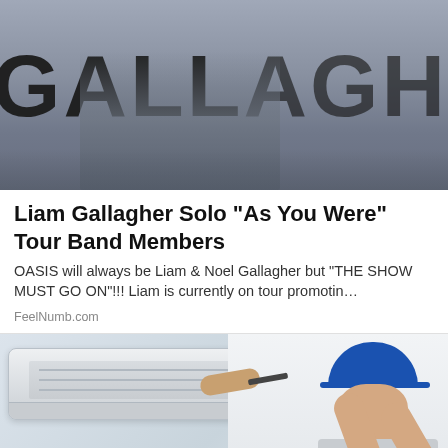[Figure (photo): Concert stage photo showing a performer with guitar in front of a large banner reading GALLAGHER]
Liam Gallagher Solo “As You Were” Tour Band Members
OASIS will always be Liam & Noel Gallagher but "THE SHOW MUST GO ON"!!! Liam is currently on tour promotin…
FeelNumb.com
[Figure (photo): A technician in a blue cap repairing or servicing a wall-mounted air conditioning unit]